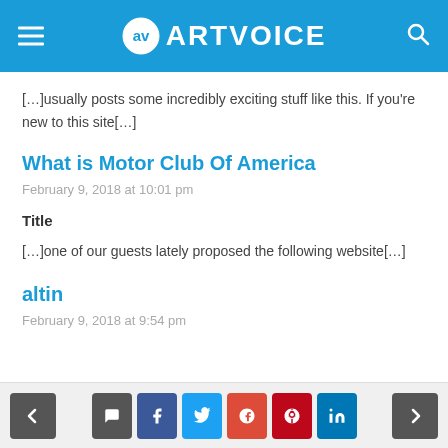ARTVOICE
[…]usually posts some incredibly exciting stuff like this. If you're new to this site[…]
What is Motor Club Of America
February 9, 2018 at 10:01 pm
Title
[…]one of our guests lately proposed the following website[…]
altin
February 9, 2018 at 9:54 pm